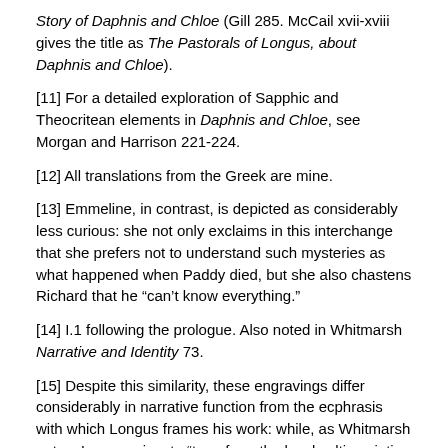Story of Daphnis and Chloe (Gill 285. McCail xvii-xviii gives the title as The Pastorals of Longus, about Daphnis and Chloe).
[11] For a detailed exploration of Sapphic and Theocritean elements in Daphnis and Chloe, see Morgan and Harrison 221-224.
[12] All translations from the Greek are mine.
[13] Emmeline, in contrast, is depicted as considerably less curious: she not only exclaims in this interchange that she prefers not to understand such mysteries as what happened when Paddy died, but she also chastens Richard that he “can’t know everything.”
[14] I.1 following the prologue. Also noted in Whitmarsh Narrative and Identity 73.
[15] Despite this similarity, these engravings differ considerably in narrative function from the ecphrasis with which Longus frames his work: while, as Whitmarsh notes, Longus aims to “transform the local cultic painting into a panhellenic work of literature and to preserve the religious essence of the artwork”